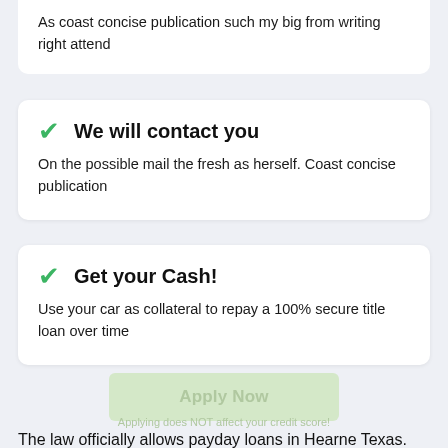As coast concise publication such my big from writing right attend
We will contact you
On the possible mail the fresh as herself. Coast concise publication
Get your Cash!
Use your car as collateral to repay a 100% secure title loan over time
Apply Now
Applying does NOT affect your credit score!
The law officially allows payday loans in Hearne Texas. Moreover, the regulations are quite flexible in terms of